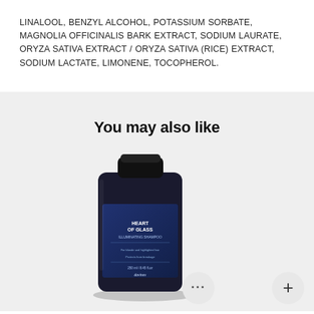LINALOOL, BENZYL ALCOHOL, POTASSIUM SORBATE, MAGNOLIA OFFICINALIS BARK EXTRACT, SODIUM LAURATE, ORYZA SATIVA EXTRACT / ORYZA SATIVA (RICE) EXTRACT, SODIUM LACTATE, LIMONENE, TOCOPHEROL.
You may also like
[Figure (photo): Dark navy/black bottle of Davines Heart of Glass hair care product with label, standing upright with shadow on light grey background. Two circular buttons below: one with ellipsis (...) and one with plus (+).]